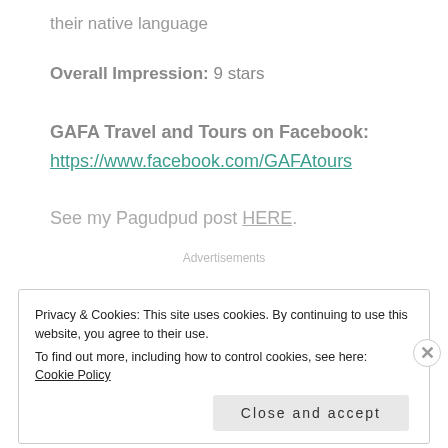their native language
Overall Impression: 9 stars
GAFA Travel and Tours on Facebook:
https://www.facebook.com/GAFAtours
See my Pagudpud post HERE.
Advertisements
Privacy & Cookies: This site uses cookies. By continuing to use this website, you agree to their use. To find out more, including how to control cookies, see here: Cookie Policy